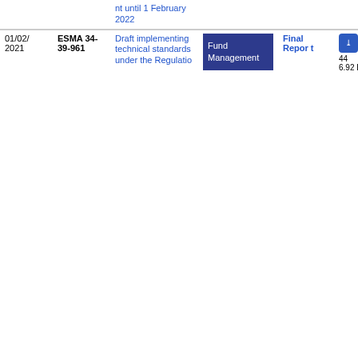| Date | Reference | Title | Topic | Type | File |
| --- | --- | --- | --- | --- | --- |
|  |  | nt until 1 February 2022 |  |  |  |
| 01/02/2021 | ESMA 34-39-961 | Draft implementing technical standards under the Regulation (EU) | Fund Management | Final Report | PDF 44 6.92 KB |